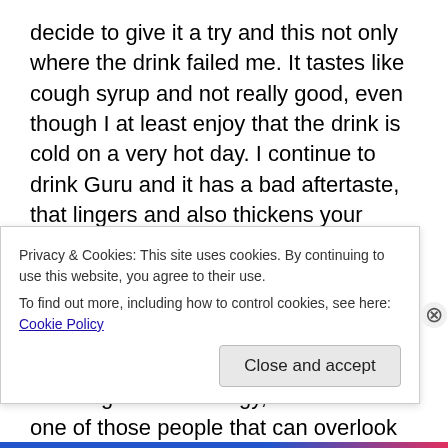decide to give it a try and this not only where the drink failed me. It tastes like cough syrup and not really good, even though I at least enjoy that the drink is cold on a very hot day. I continue to drink Guru and it has a bad aftertaste, that lingers and also thickens your saliva. That medicinal taste just intensifies the more I drink it and I try to not even hold the drink in my mouth because it even makes my gums taste weird. Not great when it came to flavor but if it gives me energy, I tend to be one of those people that can overlook taste a bit if the product works. I wait 30 minutes, nothing. Another hour passes and the
Privacy & Cookies: This site uses cookies. By continuing to use this website, you agree to their use.
To find out more, including how to control cookies, see here: Cookie Policy